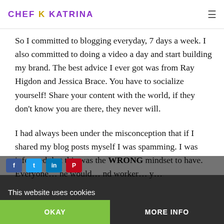CHEF K KATRINA
So I committed to blogging everyday, 7 days a week. I also committed to doing a video a day and start building my brand. The best advice I ever got was from Ray Higdon and Jessica Brace. You have to socialize yourself! Share your content with the world, if they don't know you are there, they never will.
I had always been under the misconception that if I shared my blog posts myself I was spamming. I was informed that this was the WRONG mind... have. Everyone... he would... nd worker... y...
This website uses cookies
OKAY    MORE INFO